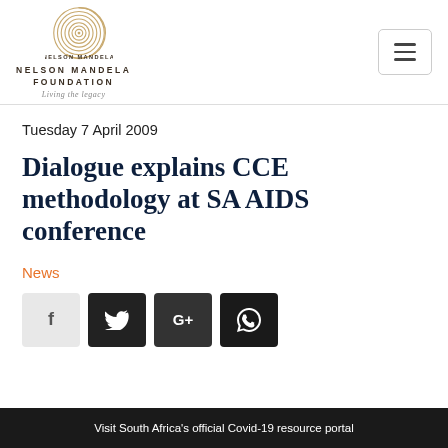[Figure (logo): Nelson Mandela Foundation logo with spiral emblem, text 'NELSON MANDELA FOUNDATION' and tagline 'Living the legacy']
Tuesday 7 April 2009
Dialogue explains CCE methodology at SA AIDS conference
News
[Figure (other): Social share buttons: Facebook (f), Twitter (bird), Google+ (G+), WhatsApp (phone icon)]
Visit South Africa's official Covid-19 resource portal